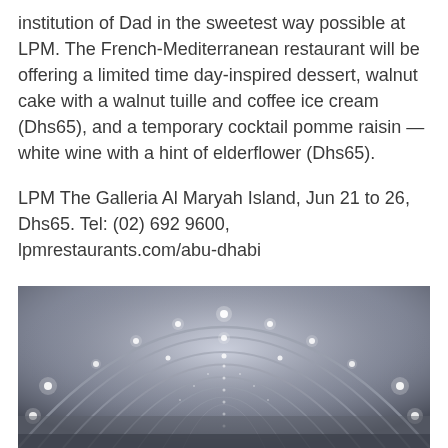institution of Dad in the sweetest way possible at LPM. The French-Mediterranean restaurant will be offering a limited time day-inspired dessert, walnut cake with a walnut tuille and coffee ice cream (Dhs65), and a temporary cocktail pomme raisin — white wine with a hint of elderflower (Dhs65).
LPM The Galleria Al Maryah Island, Jun 21 to 26, Dhs65. Tel: (02) 692 9600, lpmrestaurants.com/abu-dhabi
It's coming dome…
[Figure (photo): Interior photograph of a large dome-shaped venue with curved ribbed ceiling arches and rows of ceiling lights creating a symmetrical pattern. The space is dimly lit with soft white lights arranged in curved rows along the ceiling structure.]